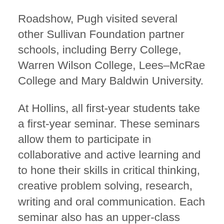Roadshow, Pugh visited several other Sullivan Foundation partner schools, including Berry College, Warren Wilson College, Lees–McRae College and Mary Baldwin University.
At Hollins, all first-year students take a first-year seminar. These seminars allow them to participate in collaborative and active learning and to hone their skills in critical thinking, creative problem solving, research, writing and oral communication. Each seminar also has an upper-class student mentor called a Student Success Leader, or SSL. SSLs attend the seminar, help students with advising, and answer academic